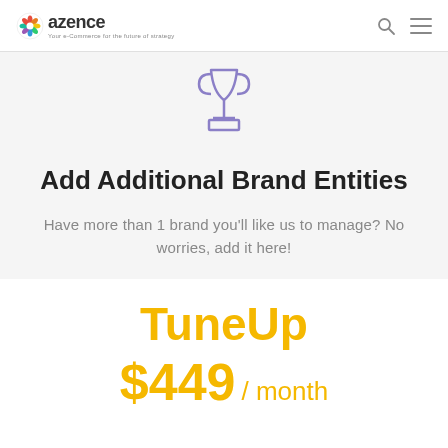azence
[Figure (illustration): Trophy icon in purple/lavender outline style]
Add Additional Brand Entities
Have more than 1 brand you'll like us to manage? No worries, add it here!
TuneUp
$449 / month